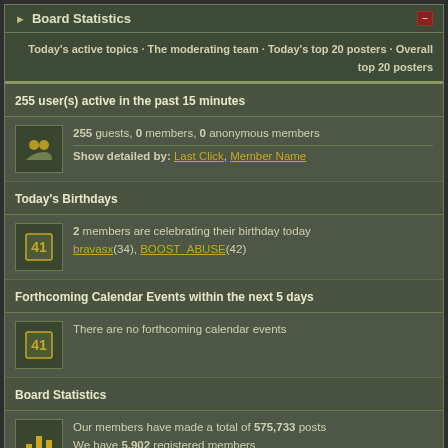Board Statistics
Today's active topics · The moderating team · Today's top 20 posters · Overall top 20 posters
255 user(s) active in the past 15 minutes
255 guests, 0 members, 0 anonymous members
Show detailed by: Last Click, Member Name
Today's Birthdays
2 members are celebrating their birthday today
bravasx(34), BOOST_ABUSE(42)
Forthcoming Calendar Events within the next 5 days
There are no forthcoming calendar events
Board Statistics
Our members have made a total of 575,733 posts
We have 5,902 registered members
The newest member is harrypotter7
Most users ever online was 31,490 on Apr 2 2016, 03:15 AM
Lo-Fi Version  Time is now: 30th August 2022 - 05:51 PM